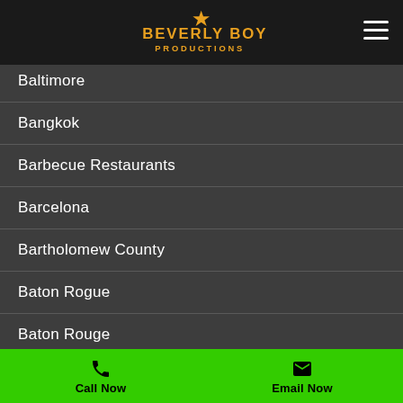Beverly Boy Productions
Baltimore
Bangkok
Barbecue Restaurants
Barcelona
Bartholomew County
Baton Rogue
Baton Rouge
Baton Rouge
Bay County MI
Beijing
Bell County
Call Now | Email Now